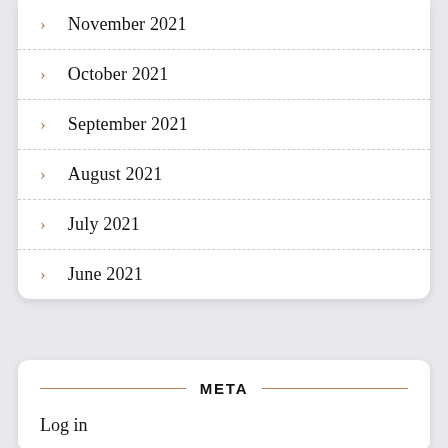November 2021
October 2021
September 2021
August 2021
July 2021
June 2021
META
Log in